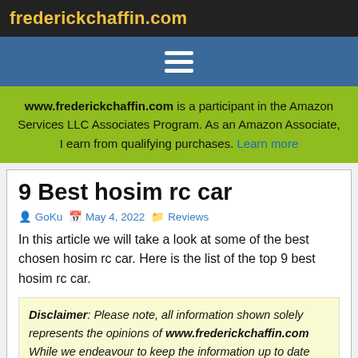frederickchaffin.com
www.frederickchaffin.com is a participant in the Amazon Services LLC Associates Program. As an Amazon Associate, I earn from qualifying purchases. Learn more
9 Best hosim rc car
GoKu   May 4, 2022   Reviews
In this article we will take a look at some of the best chosen hosim rc car. Here is the list of the top 9 best hosim rc car.
Disclaimer: Please note, all information shown solely represents the opinions of www.frederickchaffin.com While we endeavour to keep the information up to date and correct, we make no representations or warranties of any kind, express or implied, about the completeness, accuracy, reliability, suitability or availability with respect to the website